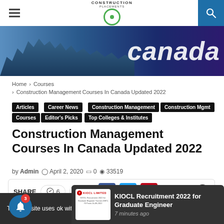Construction Placements — navigation header with hamburger menu, logo, and search icon
[Figure (photo): Banner photo of Canadian city skyline with large 'canada' text overlay on dark blue/purple background]
Home > Courses > Construction Management Courses In Canada Updated 2022
Articles
Career News
Construction Management
Construction Mgmt
Courses
Editor's Picks
Top Colleges & Institutes
Construction Management Courses In Canada Updated 2022
by Admin  April 2, 2020  0  33519
SHARE  6  0 (Facebook, Twitter, Pinterest share buttons)
This website uses ... ok with thi...
KIOCL Recruitment 2022 for Graduate Engineer — 7 minutes ago
Read More